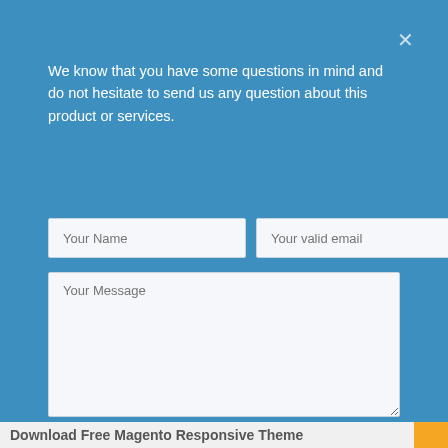We know that you have some questions in mind and do not hesitate to send us any question about this product or services.
[Figure (screenshot): Contact form popup modal with two text input fields (Your Name, Your valid email), a large textarea (Your Message), and an orange Submit button labeled SEND YOUR REQUEST, all on a teal/blue background with a close X button.]
Download Free Magento Responsive Theme